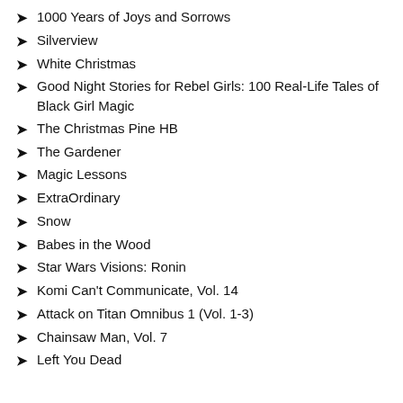1000 Years of Joys and Sorrows
Silverview
White Christmas
Good Night Stories for Rebel Girls: 100 Real-Life Tales of Black Girl Magic
The Christmas Pine HB
The Gardener
Magic Lessons
ExtraOrdinary
Snow
Babes in the Wood
Star Wars Visions: Ronin
Komi Can't Communicate, Vol. 14
Attack on Titan Omnibus 1 (Vol. 1-3)
Chainsaw Man, Vol. 7
Left You Dead